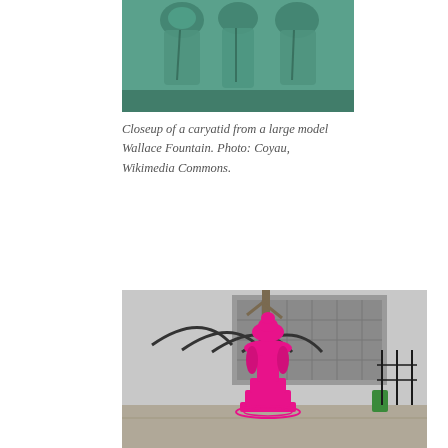[Figure (photo): Closeup of green bronze caryatid figures from the top of a large model Wallace Fountain, showing decorative figures and patinated metal details.]
Closeup of a caryatid from a large model Wallace Fountain. Photo: Coyau, Wikimedia Commons.
[Figure (photo): A Wallace Fountain painted bright pink/magenta standing in an urban plaza in Paris, with a curved metal pergola and a modern building visible in the background.]